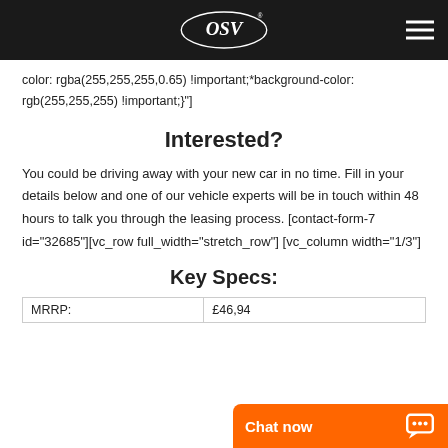OSV logo and navigation menu
color: rgba(255,255,255,0.65) !important;*background-color: rgb(255,255,255) !important;}"]​
Interested?
You could be driving away with your new car in no time. Fill in your details below and one of our vehicle experts will be in touch within 48 hours to talk you through the leasing process. [contact-form-7 id="32685"][vc_row full_width="stretch_row"] [vc_column width="1/3"]
Key Specs:
| MRRP: |  |
| --- | --- |
| MRRP: | £46,94 |